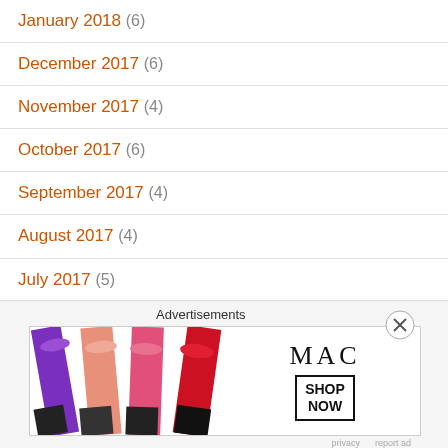January 2018 (6)
December 2017 (6)
November 2017 (4)
October 2017 (6)
September 2017 (4)
August 2017 (4)
July 2017 (5)
June 2017 (2)
May 2017 (5)
April 2017 (5)
[Figure (advertisement): MAC Cosmetics advertisement showing lipsticks with SHOP NOW button]
Advertisements